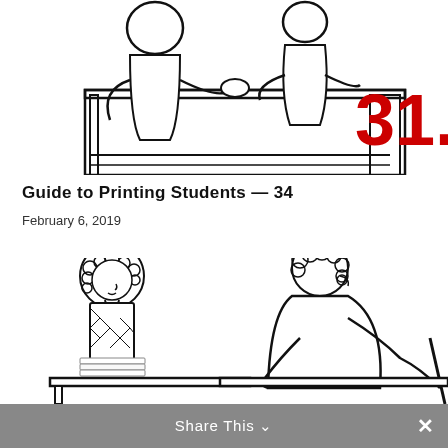[Figure (illustration): Top portion of a black-and-white cartoon illustration showing two people sitting at desks/table, with bold red number '31.' visible on the right side]
Guide to Printing Students — 34
February 6, 2019
[Figure (photo): Close-up photograph of pencil tips/erasers in orange and brown tones on a grey background]
[Figure (illustration): Bottom portion of a black-and-white cartoon showing two people sitting across from each other at a desk — one with curly hair in a patterned vest, the other a larger figure viewed from behind]
Share This ∨  ×